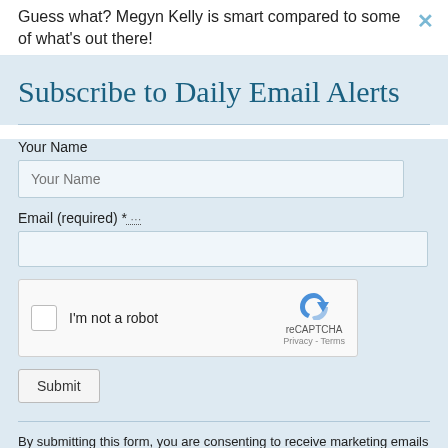Guess what? Megyn Kelly is smart compared to some of what's out there!
Subscribe to Daily Email Alerts
Your Name
Email (required) *
[Figure (other): reCAPTCHA widget with checkbox labeled 'I'm not a robot' and reCAPTCHA logo with Privacy - Terms links]
Submit
By submitting this form, you are consenting to receive marketing emails from: News With Views, P.O. Box 990, Spring Branch, TX, 78070-9998,